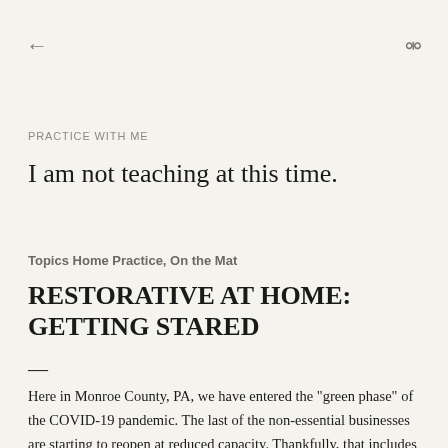← (back) Q (search)
PRACTICE WITH ME
I am not teaching at this time.
Topics Home Practice, On the Mat
RESTORATIVE AT HOME: GETTING STARED
—
Here in Monroe County, PA, we have entered the "green phase" of the COVID-19 pandemic. The last of the non-essential businesses are starting to reopen at reduced capacity. Thankfully, that includes yoga studios. However, our